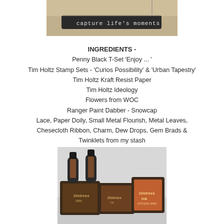[Figure (photo): Close-up photo of a wooden or dark stamp/tool with text 'capture life's moments' visible on the side, with paper or textured background]
INGREDIENTS -
Penny Black T-Set 'Enjoy ... '
Tim Holtz Stamp Sets - 'Curios Possibility' & 'Urban Tapestry'
Tim Holtz Kraft Resist Paper
Tim Holtz Ideology
Flowers from WOC
Ranger Paint Dabber - Snowcap
Lace, Paper Doily, Small Metal Flourish, Metal Leaves,
Chesecloth Ribbon, Charm, Dew Drops, Gem Brads &
Twinklets from my stash
[Figure (photo): Photo of multiple Distress Ink pads and two small bottles of Distress Ink, showing craft ink products on a light background]